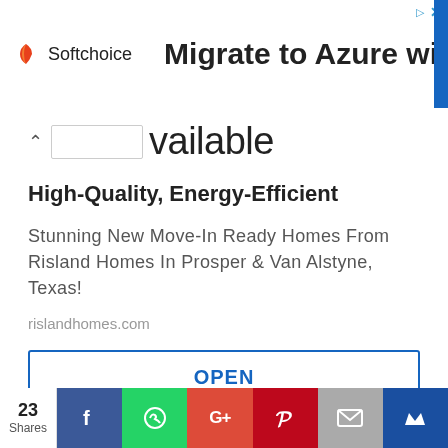[Figure (screenshot): Softchoice advertisement banner: logo on left, text 'Migrate to Azure with AVS' on right, blue vertical bar on far right, close/arrow controls top right]
Available
High-Quality, Energy-Efficient
Stunning New Move-In Ready Homes From Risland Homes In Prosper & Van Alstyne, Texas!
rislandhomes.com
OPEN
[Figure (infographic): Social share bar with count '23 Shares', Facebook, WhatsApp, Google+, Pinterest, Email, and Crown social share buttons]